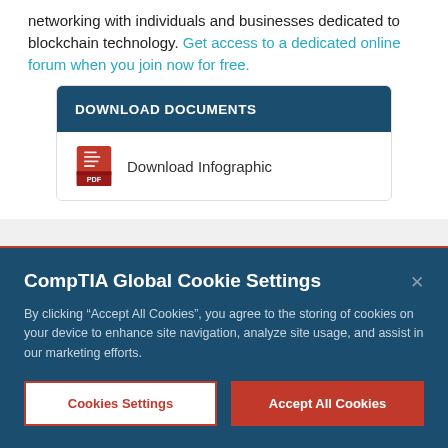networking with individuals and businesses dedicated to blockchain technology. Get access to a dedicated online forum when you join now for free.
DOWNLOAD DOCUMENTS
Download Infographic
CompTIA Global Cookie Settings
By clicking “Accept All Cookies”, you agree to the storing of cookies on your device to enhance site navigation, analyze site usage, and assist in our marketing efforts.
Cookies Settings
Accept All Cookies